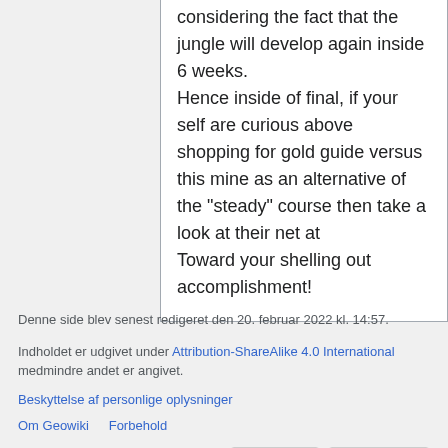considering the fact that the jungle will develop again inside 6 weeks.
Hence inside of final, if your self are curious above shopping for gold guide versus this mine as an alternative of the "steady" course then take a look at their net at
Toward your shelling out accomplishment!
Denne side blev senest redigeret den 20. februar 2022 kl. 14:57.
Indholdet er udgivet under Attribution-ShareAlike 4.0 International medmindre andet er angivet.
Beskyttelse af personlige oplysninger
Om Geowiki    Forbehold